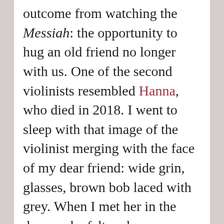outcome from watching the Messiah: the opportunity to hug an old friend no longer with us. One of the second violinists resembled Hanna, who died in 2018. I went to sleep with that image of the violinist merging with the face of my dear friend: wide grin, glasses, brown bob laced with grey. When I met her in the dream, she felt real as anything, and I stayed for a while in her warm, familiar